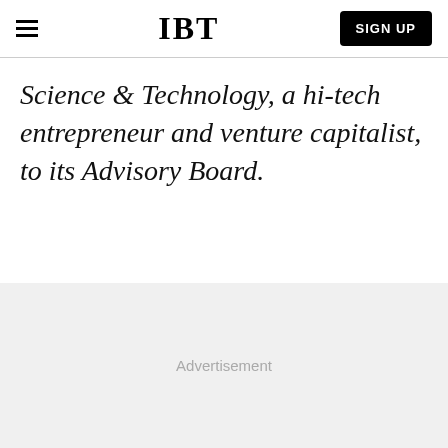IBT | SIGN UP
Science & Technology, a hi-tech entrepreneur and venture capitalist, to its Advisory Board.
Advertisement